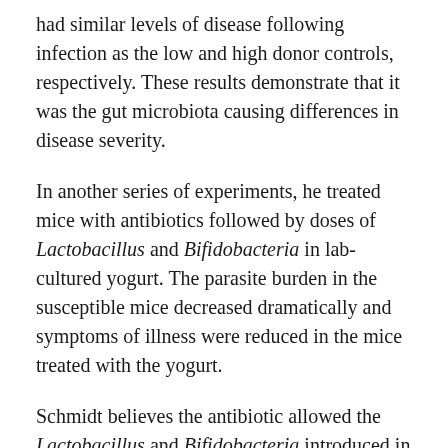had similar levels of disease following infection as the low and high donor controls, respectively. These results demonstrate that it was the gut microbiota causing differences in disease severity.
In another series of experiments, he treated mice with antibiotics followed by doses of Lactobacillus and Bifidobacteria in lab-cultured yogurt. The parasite burden in the susceptible mice decreased dramatically and symptoms of illness were reduced in the mice treated with the yogurt.
Schmidt believes the antibiotic allowed the Lactobacillus and Bifidobacteria introduced in the yogurt to colonize the gut, thereby controlling the Plasmodium population.